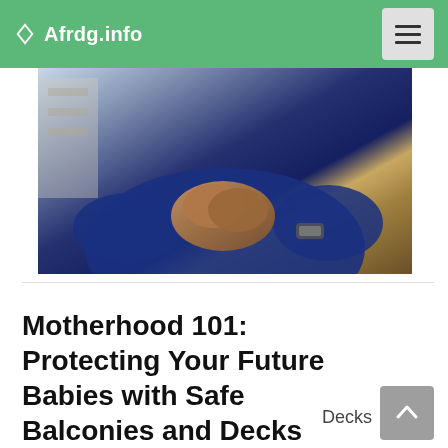Afrdg.info
[Figure (photo): Close-up photo of a person in a blue shirt with hands clasped together, wearing a watch. Upper body and hands visible.]
Motherhood 101: Protecting Your Future Babies with Safe Balconies and Decks